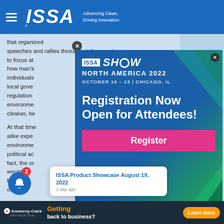ISSA — Advancing Clean. Driving Innovation.
that organized speeches and rallies throughout the country to focus att... how man's... individuals... local gove... regulation... environme... cleaner, he...
At that time... alike expe... environme... political ac... fact, the or... would c... both in... own ha...
[Figure (screenshot): ISSA SHOW NORTH AMERICA 2022 popup advertisement. OCTOBER 10 - 13 | CHICAGO, IL. Registration Now Open for Attendees! Register button in pink.]
ISSA Product Showcase August 19, 2022
1 day ago
Getting back to business? Learn more